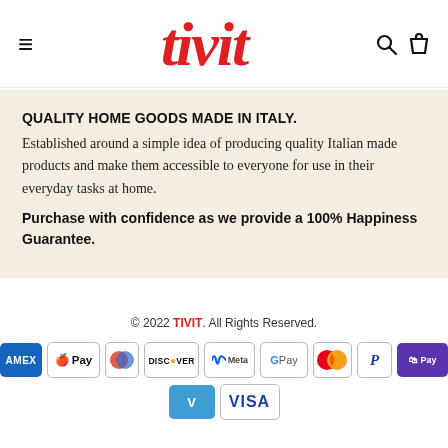≡  tivit  🔍 🛍
QUALITY HOME GOODS MADE IN ITALY.
Established around a simple idea of producing quality Italian made products and make them accessible to everyone for use in their everyday tasks at home. Purchase with confidence as we provide a 100% Happiness Guarantee.
© 2022 TIVIT. All Rights Reserved.
[Figure (other): Payment method logos: American Express, Apple Pay, Diners Club, Discover, Meta Pay, Google Pay, Mastercard, PayPal, Shop Pay, Venmo, Visa]